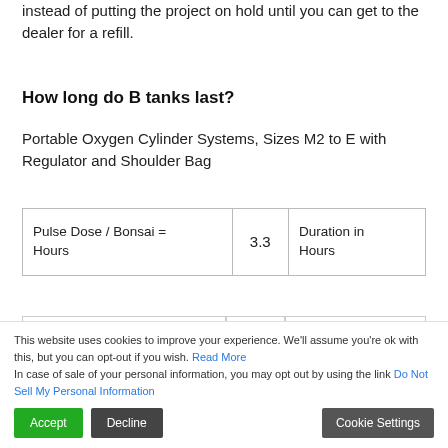instead of putting the project on hold until you can get to the dealer for a refill.
How long do B tanks last?
Portable Oxygen Cylinder Systems, Sizes M2 to E with Regulator and Shoulder Bag
| Pulse Dose / Bonsai = Hours | 3.3 | Duration in Hours |
| --- | --- | --- |
This website uses cookies to improve your experience. We'll assume you're ok with this, but you can opt-out if you wish. Read More In case of sale of your personal information, you may opt out by using the link Do Not Sell My Personal Information